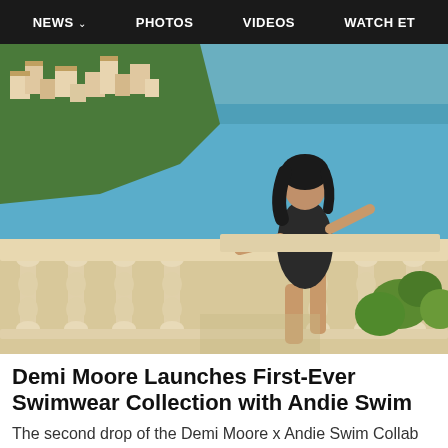NEWS  PHOTOS  VIDEOS  WATCH ET
[Figure (photo): Woman in black swimsuit posing on a white stone balustrade terrace overlooking a coastal Mediterranean town with turquoise sea in the background]
Demi Moore Launches First-Ever Swimwear Collection with Andie Swim
The second drop of the Demi Moore x Andie Swim Collab has modern and vintage swimwear styles tha…